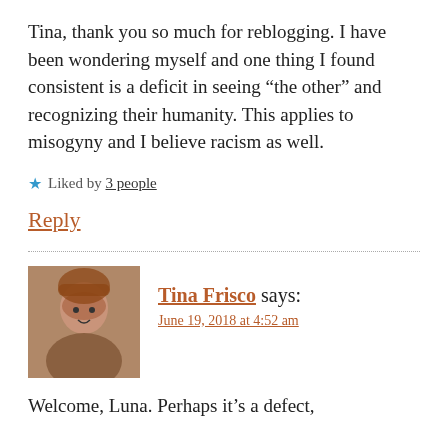Tina, thank you so much for reblogging. I have been wondering myself and one thing I found consistent is a deficit in seeing “the other” and recognizing their humanity. This applies to misogyny and I believe racism as well.
★ Liked by 3 people
Reply
Tina Frisco says:
June 19, 2018 at 4:52 am
Welcome, Luna. Perhaps it’s a defect,